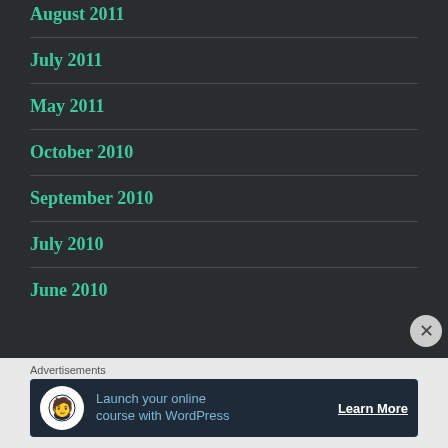August 2011
July 2011
May 2011
October 2010
September 2010
July 2010
June 2010
Advertisements
Launch your online course with WordPress  Learn More